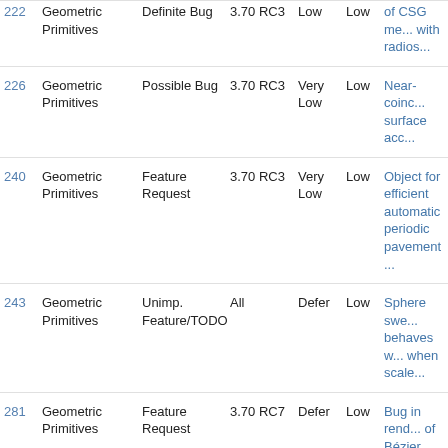| ID | Category | Type | Version | Priority | Severity | Description |
| --- | --- | --- | --- | --- | --- | --- |
| 222 | Geometric Primitives | Definite Bug | 3.70 RC3 | Low | Low | of CSG me... with radios... |
| 226 | Geometric Primitives | Possible Bug | 3.70 RC3 | Very Low | Low | Near-coinc... surface acc... |
| 240 | Geometric Primitives | Feature Request | 3.70 RC3 | Very Low | Low | Object for efficient automatic periodic pavement... |
| 243 | Geometric Primitives | Unimp. Feature/TODO | All | Defer | Low | Sphere swe... behaves w... when scale... |
| 281 | Geometric Primitives | Feature Request | 3.70 RC7 | Defer | Low | Bug in rend... of Bézier patches |
| 288 | Geometric Primitives | Possible Bug | 3.70 RC7 | Very Low | Low | Tolerance problem wi... refraction i... blobs in CS inter... |
| 292 | Geometric Primitives | Unimp. Feature/TODO | 3.70 RC7 | Very Low | Low | Arbitrary containing s... for isosurfa... |
| 28 | Frontend | Feature | 3.70 beta | Very | Low | #debug me... |